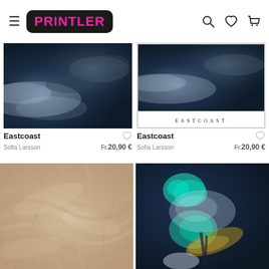[Figure (screenshot): Printler e-commerce website header with hamburger menu, Printler logo (pink text on black rounded rectangle), search icon, heart icon, and shopping cart icon]
[Figure (photo): Dark aerial ocean/cloud photograph - Eastcoast artwork by Sofia Larsson, no frame]
[Figure (photo): Dark aerial ocean/cloud photograph - Eastcoast artwork by Sofia Larsson, framed with white border and EASTCOAST text label at bottom]
Eastcoast
Sofia Larsson  Fr.20,90 €
Eastcoast
Sofia Larsson  Fr.20,90 €
[Figure (photo): Beige/sand colored abstract textured artwork with swirling crumpled fabric-like patterns]
[Figure (photo): Dark blue and teal abstract artwork with splashes of turquoise, gold, and white paint on dark background]